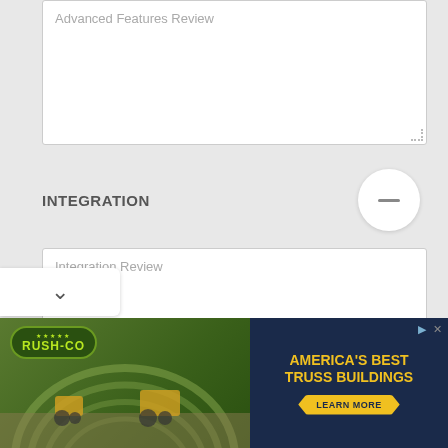Advanced Features Review
INTEGRATION
Integration Review
PERFORMANCE
Performance Review
[Figure (screenshot): Advertisement banner for Rush-Co America's Best Truss Buildings with Learn More button]